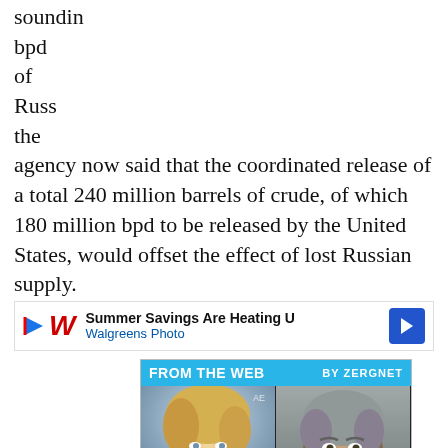soundin… on bpd of Russ… , the agency now said that the coordinated release of a total 240 million barrels of crude, of which 180 million bpd to be released by the United States, would offset the effect of lost Russian supply.
[Figure (other): Advertisement banner: Summer Savings Are Heating U – Walgreens Photo, with navigation arrow button]
[Figure (infographic): Zergnet widget 'FROM THE WEB BY ZERGNET' with two celebrity photos and captions: Anne Heche's Crash Details Just Went To Another Level; The Tragedy Of Mark Ruffalo Just Gets Sadder And Sadder]
It seems that the IEA is assuming that the loss of Russian supply will be temporary—just as the effect of the reserve